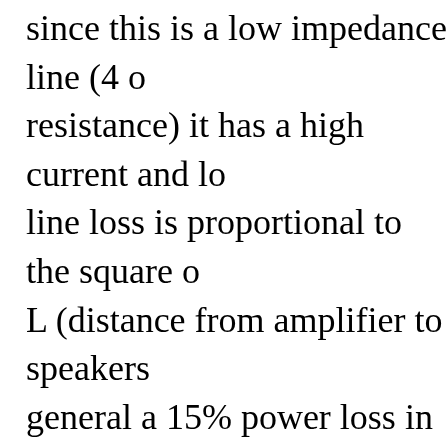since this is a low impedance line (4 ohm resistance) it has a high current and lo... line loss is proportional to the square of... L (distance from amplifier to speakers... general a 15% power loss in the line is acceptable loss. Using #22 AWG size example of Fig. 1, the maximum dista... this 15% line power loss. Of course, a reduce the line loss and, consequently,